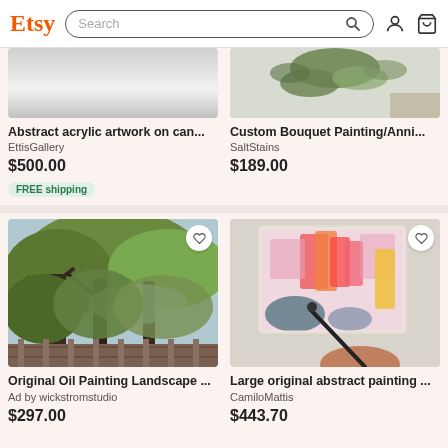Etsy | Search bar with search icon, user icon, and cart icon
[Figure (screenshot): Abstract acrylic artwork on canvas — gray gradient product image]
Abstract acrylic artwork on can...
EttisGallery
$500.00
FREE shipping
[Figure (screenshot): Custom Bouquet Painting/Anniversary — leaves and botanicals product image]
Custom Bouquet Painting/Anni...
SaltStains
$189.00
[Figure (photo): Original oil painting landscape of trees with lush green foliage and a wooden fence, with a heart/favorite button]
Original Oil Painting Landscape ...
Ad by wickstromstudio
$297.00
[Figure (photo): Large original abstract painting displayed on wall with colorful pink, orange, yellow strokes, person visible at bottom, with a heart/favorite button]
Large original abstract painting ...
CamiloMattis
$443.70